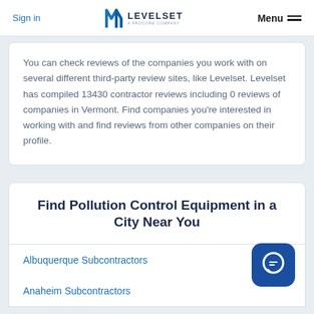Sign in | LEVELSET A PROCORE COMPANY | Menu
You can check reviews of the companies you work with on several different third-party review sites, like Levelset. Levelset has compiled 13430 contractor reviews including 0 reviews of companies in Vermont. Find companies you're interested in working with and find reviews from other companies on their profile.
Find Pollution Control Equipment in a City Near You
Albuquerque Subcontractors
Anaheim Subcontractors